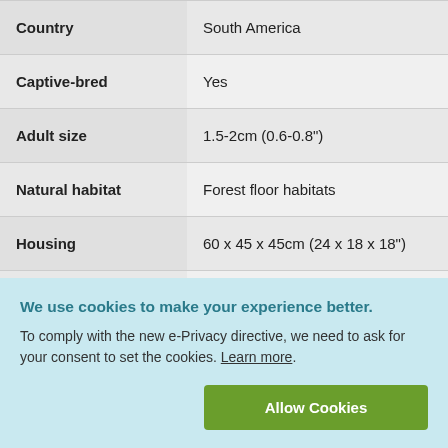| Field | Value |
| --- | --- |
| Country | South America |
| Captive-bred | Yes |
| Adult size | 1.5-2cm (0.6-0.8") |
| Natural habitat | Forest floor habitats |
| Housing | 60 x 45 x 45cm (24 x 18 x 18") |
| (partial row) |  |
We use cookies to make your experience better. To comply with the new e-Privacy directive, we need to ask for your consent to set the cookies. Learn more.